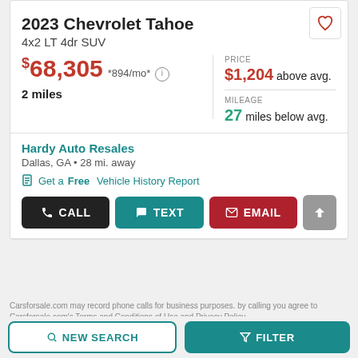2023 Chevrolet Tahoe
4x2 LT 4dr SUV
$68,305 *894/mo*
2 miles
PRICE $1,204 above avg.
MILEAGE 27 miles below avg.
Hardy Auto Resales
Dallas, GA • 28 mi. away
Get a Free Vehicle History Report
CALL
TEXT
EMAIL
Carsforsale.com may record phone calls for business purposes. by calling you agree to Carsforsale.com's Terms and Conditions of Use and Privacy Policy
NEW SEARCH
FILTER